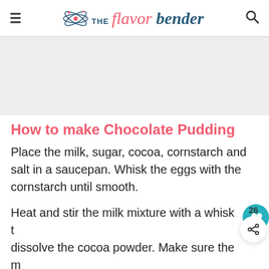THE flavor bender
[Figure (photo): Gray placeholder image area below the header]
How to make Chocolate Pudding
Place the milk, sugar, cocoa, cornstarch and salt in a saucepan. Whisk the eggs with the cornstarch until smooth.
Heat and stir the milk mixture with a whisk to dissolve the cocoa powder. Make sure the mixture is almost boiling or simmering (even if the mixture just comes to a boil, that's OK too). Remove the